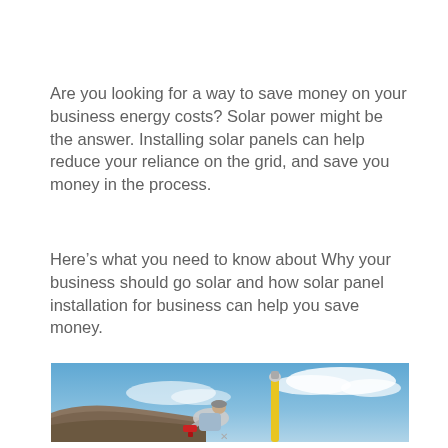Are you looking for a way to save money on your business energy costs? Solar power might be the answer. Installing solar panels can help reduce your reliance on the grid, and save you money in the process.
Here's what you need to know about Why your business should go solar and how solar panel installation for business can help you save money.
[Figure (photo): A worker on a rooftop installing something, photographed from below against a blue sky with clouds. A yellow tool or pipe is visible.]